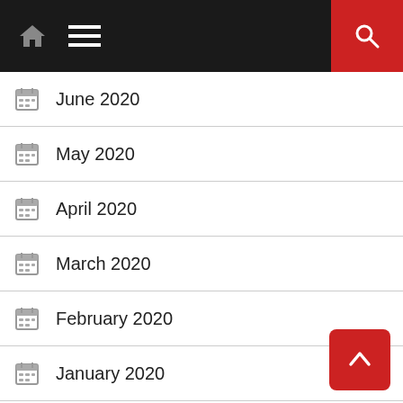Navigation bar with home icon, menu icon, and search button
June 2020
May 2020
April 2020
March 2020
February 2020
January 2020
December 2019
November 2019
October 2019
September 2019